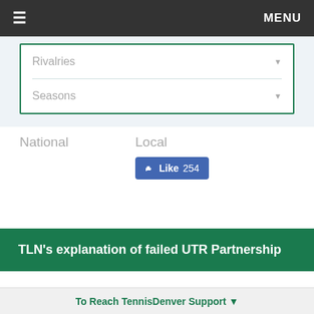≡  MENU
Rivalries ▼
Seasons ▼
National
Local
[Figure (other): Facebook Like button showing 254 likes]
TLN's explanation of failed UTR Partnership
[Figure (logo): Partial green tennis logo visible at bottom]
To Reach TennisDenver Support ▼